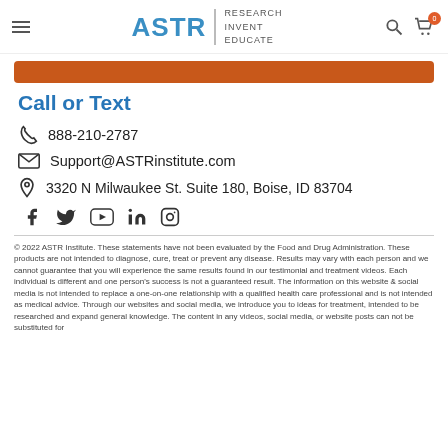ASTR | RESEARCH INVENT EDUCATE
[Figure (other): Orange/brown button bar partially visible]
Call or Text
888-210-2787
Support@ASTRinstitute.com
3320 N Milwaukee St. Suite 180, Boise, ID 83704
[Figure (other): Social media icons: Facebook, Twitter, YouTube, LinkedIn, Instagram]
© 2022 ASTR Institute. These statements have not been evaluated by the Food and Drug Administration. These products are not intended to diagnose, cure, treat or prevent any disease. Results may vary with each person and we cannot guarantee that you will experience the same results found in our testimonial and treatment videos. Each individual is different and one person's success is not a guaranteed result. The information on this website & social media is not intended to replace a one-on-one relationship with a qualified health care professional and is not intended as medical advice. Through our websites and social media, we introduce you to ideas for treatment, intended to be researched and expand general knowledge. The content in any videos, social media, or website posts can not be substituted for